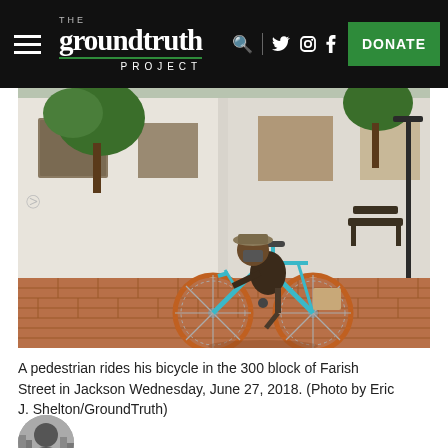THE groundtruth PROJECT | DONATE
[Figure (photo): A person riding a blue bicycle on a brick sidewalk in front of aged white brick buildings with boarded windows. Trees line the street. A bench and lamppost are visible in the background. The scene appears to be on Farish Street in Jackson, Mississippi.]
A pedestrian rides his bicycle in the 300 block of Farish Street in Jackson Wednesday, June 27, 2018. (Photo by Eric J. Shelton/GroundTruth)
[Figure (photo): Partial view of a circular avatar/profile photo at the bottom left, black and white, showing a person.]